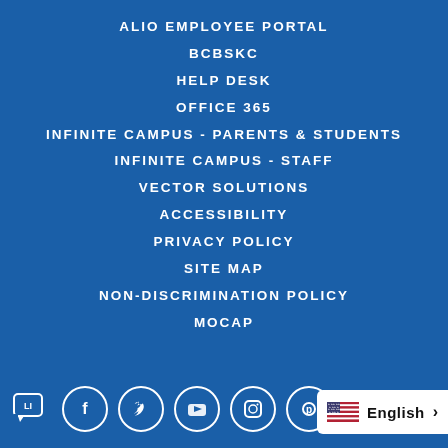ALIO EMPLOYEE PORTAL
BCBSKC
HELP DESK
OFFICE 365
INFINITE CAMPUS - PARENTS & STUDENTS
INFINITE CAMPUS - STAFF
VECTOR SOLUTIONS
ACCESSIBILITY
PRIVACY POLICY
SITE MAP
NON-DISCRIMINATION POLICY
MOCAP
[Figure (illustration): Footer bar with social media icons (chat bubble with LI, Facebook, Twitter, YouTube, Instagram, and partially visible icon), and English language selector pill with US flag and arrow.]